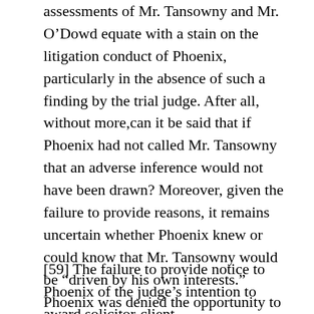assessments of Mr. Tansowny and Mr. O'Dowd equate with a stain on the litigation conduct of Phoenix, particularly in the absence of such a finding by the trial judge. After all, without more,can it be said that if Phoenix had not called Mr. Tansowny that an adverse inference would not have been drawn? Moreover, given the failure to provide reasons, it remains uncertain whether Phoenix knew or could know that Mr. Tansowny would be “driven by his own interests.” Phoenix was denied the opportunity to make such arguments and others.
[59] The failure to provide notice to Phoenix of the judge’s intention to award solicitor-client